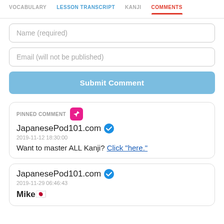VOCABULARY  LESSON TRANSCRIPT  KANJI  COMMENTS
Name (required)
Email (will not be published)
Submit Comment
PINNED COMMENT
JapanesePod101.com
2019-11-12 18:30:00
Want to master ALL Kanji? Click "here."
JapanesePod101.com
2019-11-29 06:46:43
Mike🇯🇵